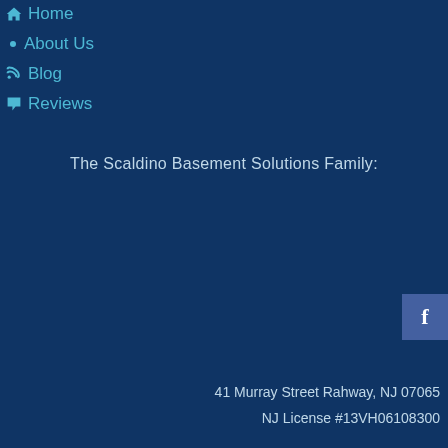Home
About Us
Blog
Reviews
The Scaldino Basement Solutions Family:
[Figure (logo): Facebook icon button, blue square with white 'f' letter]
41 Murray Street Rahway, NJ 07065
NJ License #13VH06108300